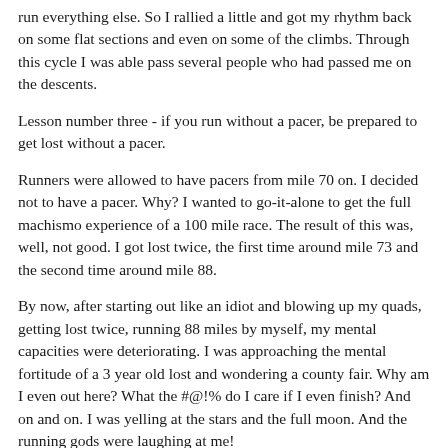run everything else. So I rallied a little and got my rhythm back on some flat sections and even on some of the climbs. Through this cycle I was able pass several people who had passed me on the descents.
Lesson number three - if you run without a pacer, be prepared to get lost without a pacer.
Runners were allowed to have pacers from mile 70 on. I decided not to have a pacer. Why? I wanted to go-it-alone to get the full machismo experience of a 100 mile race. The result of this was, well, not good. I got lost twice, the first time around mile 73 and the second time around mile 88.
By now, after starting out like an idiot and blowing up my quads, getting lost twice, running 88 miles by myself, my mental capacities were deteriorating. I was approaching the mental fortitude of a 3 year old lost and wondering a county fair. Why am I even out here? What the #@!% do I care if I even finish? And on and on. I was yelling at the stars and the full moon. And the running gods were laughing at me!